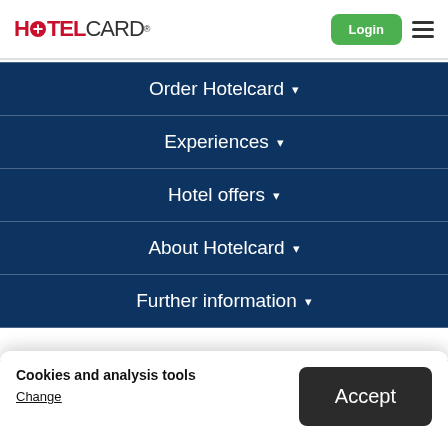HOTELCARD - Login menu
Order Hotelcard ▾
Experiences ▾
Hotel offers ▾
About Hotelcard ▾
Further information ▾
Trusted Supplier
Cookies and analysis tools
Change
Accept